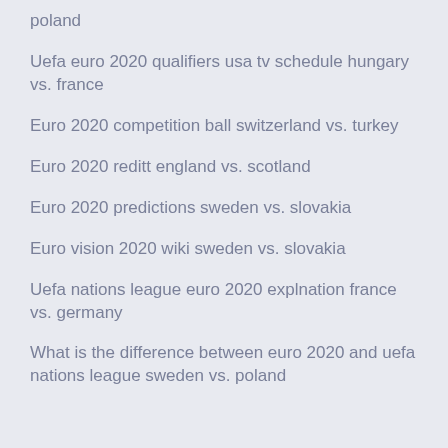poland
Uefa euro 2020 qualifiers usa tv schedule hungary vs. france
Euro 2020 competition ball switzerland vs. turkey
Euro 2020 reditt england vs. scotland
Euro 2020 predictions sweden vs. slovakia
Euro vision 2020 wiki sweden vs. slovakia
Uefa nations league euro 2020 explnation france vs. germany
What is the difference between euro 2020 and uefa nations league sweden vs. poland